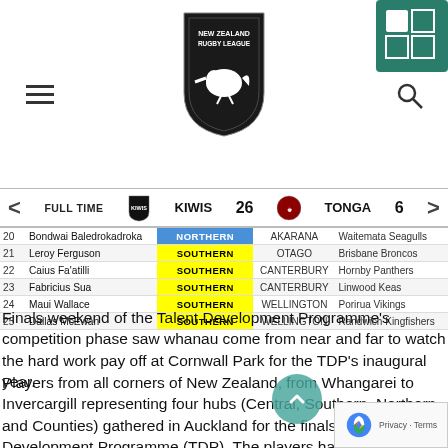[Figure (logo): New Zealand Rugby League shield logo and secondary icon in page header navigation bar with hamburger menu and search icon]
FULL TIME  KIWIS  26  TONGA  6
| # | Name | Zone | Region | Club |
| --- | --- | --- | --- | --- |
| 20 | Bondwai Baledrokadroka | NORTHERN | AKARANA | Waitemata Seagulls |
| 21 | Leroy Ferguson | SOUTHERN | OTAGO | Brisbane Broncos |
| 22 | Caius Fa'atilli | SOUTHERN | CANTERBURY | Hornby Panthers |
| 23 | Fabricius Sua | SOUTHERN | CANTERBURY | Linwood Keas |
| 24 | Maui Wallace | SOUTHERN | WELLINGTON | Porirua Vikings |
| 25 | Dallas McEwan | SOUTHERN | WELLINGTON | Randwich Kingfishers |
Finals weekend of the Talent Development Programme's competition phase saw whanau come from near and far to watch the hard work pay off at Cornwall Park for the TDP's inaugural year.
Players from all corners of New Zealand, from Whangarei to Invercargill representing four hubs (Central, Southern, Northern and Counties) gathered in Auckland for the finals of the Talent Development Programme (TDP). The players had been involved in a 10 week programme which saw them cover fundamental introduction to strength and conditioning and wellbeing education such as DrugFree Sport NZ, Careerwise and mental health